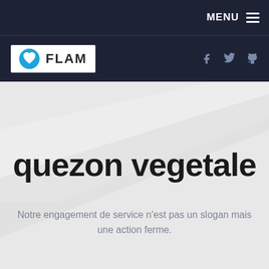MENU
[Figure (logo): FLAM logo with blue heart/bird icon and white background, FLAM text]
[Figure (other): Social media icons: Facebook, Twitter, GitHub in dark blue navigation bar]
quezon vegetale
Notre engagement de service n'est pas un slogan mais une action ferme.